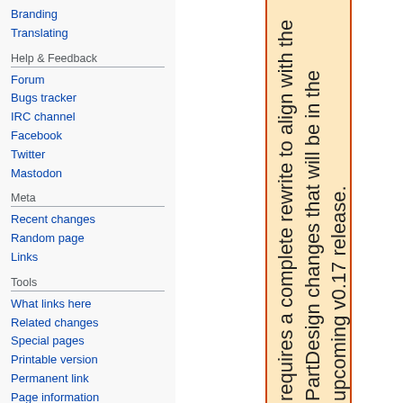Branding
Translating
Help & Feedback
Forum
Bugs tracker
IRC channel
Facebook
Twitter
Mastodon
Meta
Recent changes
Random page
Links
Tools
What links here
Related changes
Special pages
Printable version
Permanent link
Page information
requires a complete rewrite to align with the PartDesign changes that will be in the upcoming v0.17 release.